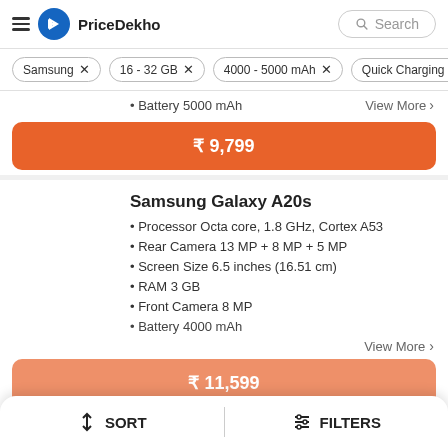PriceDekho
Samsung X
16 - 32 GB X
4000 - 5000 mAh X
Quick Charging >
• Battery 5000 mAh
View More >
₹ 9,799
Samsung Galaxy A20s
Processor Octa core, 1.8 GHz, Cortex A53
Rear Camera 13 MP + 8 MP + 5 MP
Screen Size 6.5 inches (16.51 cm)
RAM 3 GB
Front Camera 8 MP
Battery 4000 mAh
View More >
₹ 11,599
↕ SORT
⊞ FILTERS